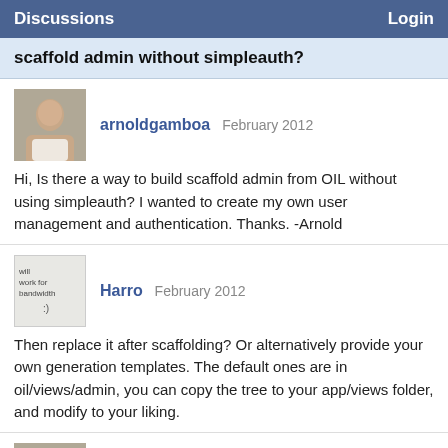Discussions   Login
scaffold admin without simpleauth?
arnoldgamboa  February 2012
Hi, Is there a way to build scaffold admin from OIL without using simpleauth? I wanted to create my own user management and authentication. Thanks. -Arnold
Harro  February 2012
Then replace it after scaffolding? Or alternatively provide your own generation templates. The default ones are in oil/views/admin, you can copy the tree to your app/views folder, and modify to your liking.
arnoldgamboa  February 2012
so I'll copy packages/oil/view/admin and place it on app/oil/view/admin? Is that the right structure?
falzhobel  February 2012